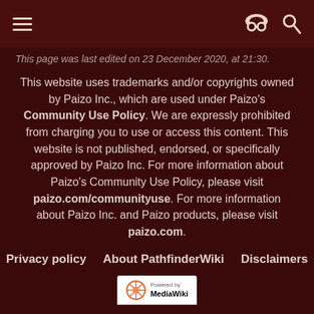≡  [incognito icon] [search icon]
This page was last edited on 23 December 2020, at 21:30.
This website uses trademarks and/or copyrights owned by Paizo Inc., which are used under Paizo's Community Use Policy. We are expressly prohibited from charging you to use or access this content. This website is not published, endorsed, or specifically approved by Paizo Inc. For more information about Paizo's Community Use Policy, please visit paizo.com/communityuse. For more information about Paizo Inc. and Paizo products, please visit paizo.com.
Privacy policy   About PathfinderWiki   Disclaimers
[Figure (logo): Powered by MediaWiki badge]
[Figure (logo): ENnies Gold 2012 award badge]